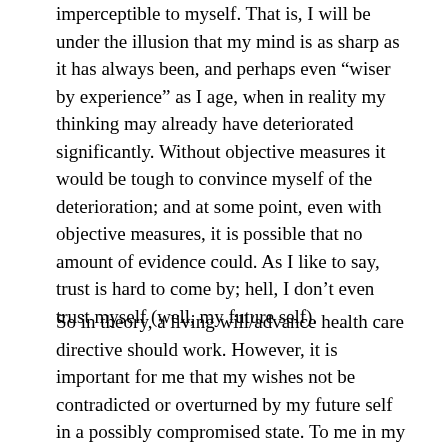imperceptible to myself. That is, I will be under the illusion that my mind is as sharp as it has always been, and perhaps even “wiser by experience” as I age, when in reality my thinking may already have deteriorated significantly. Without objective measures it would be tough to convince myself of the deterioration; and at some point, even with objective measures, it is possible that no amount of evidence could. As I like to say, trust is hard to come by; hell, I don’t even trust myself (well, my future self).
So in theory, a living will/advance health care directive should work. However, it is important for me that my wishes not be contradicted or overturned by my future self in a possibly compromised state. To me in my current, fully rational and informed state (yes, wishful thinking), it is far more important to me that instructions be